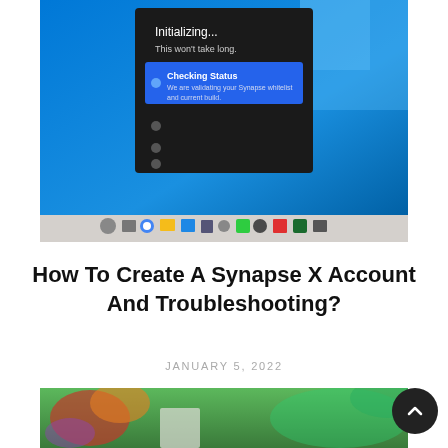[Figure (screenshot): Windows 10 desktop screenshot showing a Synapse X initializer dialog with 'Initializing... This won't take long.' text, a blue highlighted step 'Checking Status' with text 'We are validating your Synapse whitelist and current build', and a Windows taskbar at the bottom with various icons.]
How To Create A Synapse X Account And Troubleshooting?
JANUARY 5, 2022
[Figure (photo): Partial photo showing flowers and green grass]